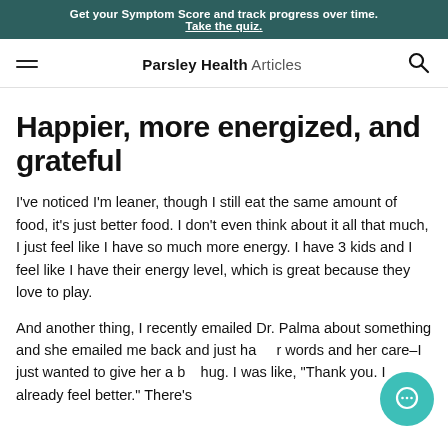Get your Symptom Score and track progress over time. Take the quiz.
Parsley Health Articles
Happier, more energized, and grateful
I've noticed I'm leaner, though I still eat the same amount of food, it's just better food. I don't even think about it all that much, I just feel like I have so much more energy. I have 3 kids and I feel like I have their energy level, which is great because they love to play.
And another thing, I recently emailed Dr. Palma about something and she emailed me back and just ha[er] words and her care–I just wanted to give her a b[ig] hug. I was like, "Thank you. I already feel better." There's